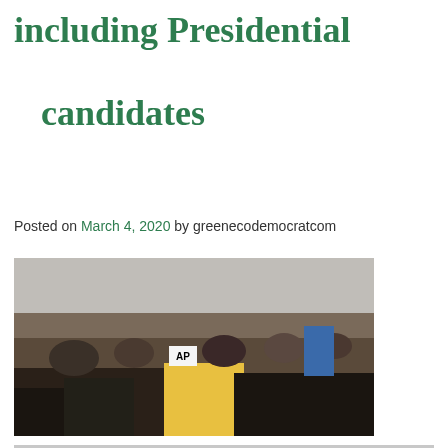including Presidential candidates
Posted on March 4, 2020 by greenecodemocratcom
[Figure (photo): Large crowd of people at an outdoor rally or march, with media cameras in the foreground and a diverse group of attendees visible in the background.]
[Figure (photo): Press conference scene with a speaker at a podium in front of a blue curtain backdrop, with red banners visible on the wall behind.]